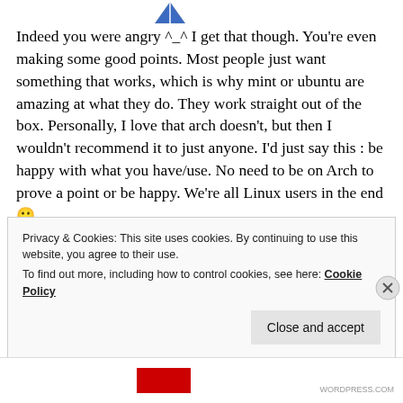[Figure (illustration): Partial avatar/logo icon at top center of page]
Indeed you were angry ^_^ I get that though. You're even making some good points. Most people just want something that works, which is why mint or ubuntu are amazing at what they do. They work straight out of the box. Personally, I love that arch doesn't, but then I wouldn't recommend it to just anyone. I'd just say this : be happy with what you have/use. No need to be on Arch to prove a point or be happy. We're all Linux users in the end 🙂
Privacy & Cookies: This site uses cookies. By continuing to use this website, you agree to their use.
To find out more, including how to control cookies, see here: Cookie Policy
Close and accept